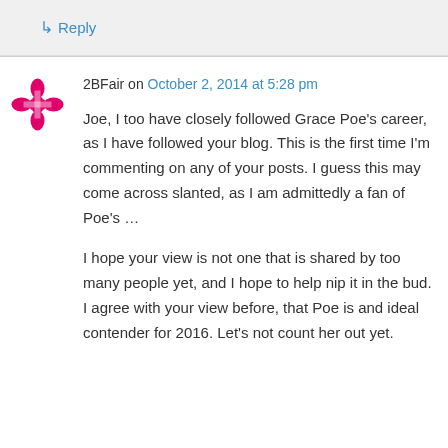↳ Reply
2BFair on October 2, 2014 at 5:28 pm
Joe, I too have closely followed Grace Poe's career, as I have followed your blog. This is the first time I'm commenting on any of your posts. I guess this may come across slanted, as I am admittedly a fan of Poe's …
I hope your view is not one that is shared by too many people yet, and I hope to help nip it in the bud. I agree with your view before, that Poe is and ideal contender for 2016. Let's not count her out yet.